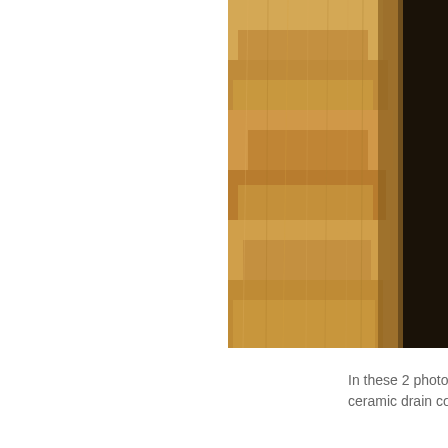[Figure (photo): Close-up photo of textured carpet or fibrous material in warm golden-brown tones, partially cropped, showing edge of dark border or frame on the right side. Photo is cropped at the right edge of the page.]
In these 2 photos (ceramic drain cove